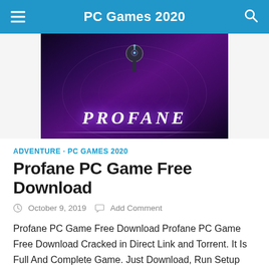PC Games 2020
[Figure (photo): Game cover art for Profane showing a hooded figure with glowing orb and the word PROFANE in large stylized text against a purple/dark background]
ADVENTURE · PC GAMES 2020
Profane PC Game Free Download
October 9, 2019   Add Comment
Profane PC Game Free Download Profane PC Game Free Download Cracked in Direct Link and Torrent. It Is Full And Complete Game. Just Download, Run Setup And...
[Figure (screenshot): Partial view of another game screenshot at the bottom of the page]